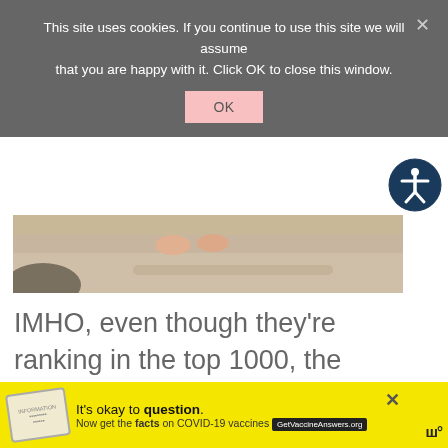This site uses cookies. If you continue to use this site we will assume that you are happy with it. Click OK to close this window.
[Figure (photo): Bottom portion of a photo showing bare feet and legs of a child on sandy beach, with rocks visible]
IMHO, even though they're ranking in the top 1000, the following names have seen better days.
Bob
[Figure (other): Advertisement banner: It's okay to question. Now get the facts on COVID-19 vaccines. GetVaccineAnswers.org]